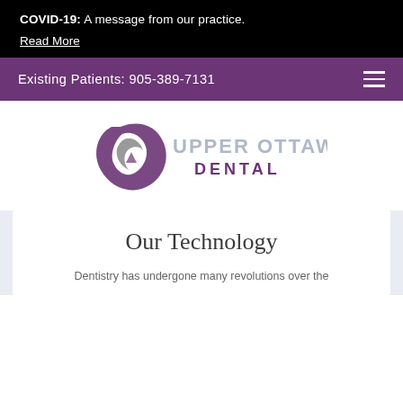COVID-19: A message from our practice.
Read More
Existing Patients: 905-389-7131
[Figure (logo): Upper Ottawa Dental logo with purple and grey swirl icon and text UPPER OTTAWA DENTAL]
Our Technology
Dentistry has undergone many revolutions over the